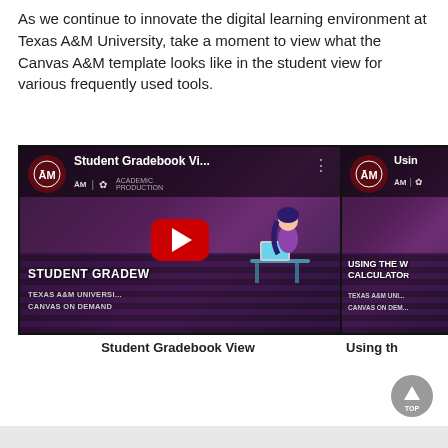As we continue to innovate the digital learning environment at Texas A&M University, take a moment to view what the Canvas A&M template looks like in the student view for various frequently used tools.
[Figure (screenshot): YouTube video thumbnails showing two Texas A&M University Canvas on Demand videos: 'Student Gradebook Vi...' with a red play button overlay on top of an auditorium background with a student at a desk, and 'Usin...' showing a second video thumbnail partially visible on the right side.]
Student Gradebook View
Using th